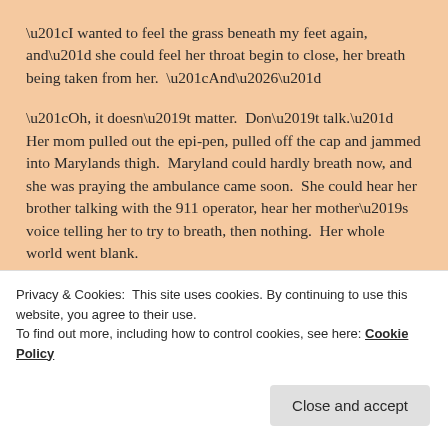“I wanted to feel the grass beneath my feet again, and” she could feel her throat begin to close, her breath being taken from her.  “And…”
“Oh, it doesn’t matter.  Don’t talk.”  Her mom pulled out the epi-pen, pulled off the cap and jammed into Marylands thigh.  Maryland could hardly breath now, and she was praying the ambulance came soon.  She could hear her brother talking with the 911 operator, hear her mother’s voice telling her to try to breath, then nothing.  Her whole world went blank.
Privacy & Cookies: This site uses cookies. By continuing to use this website, you agree to their use.
To find out more, including how to control cookies, see here: Cookie Policy